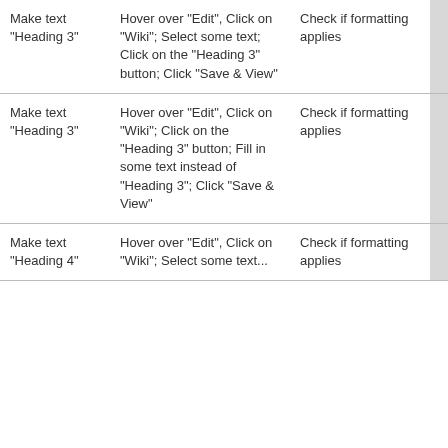| Make text "Heading 3" | Hover over "Edit", Click on "Wiki"; Select some text; Click on the "Heading 3" button; Click "Save & View" | Check if formatting applies | Not Tested | - |
| Make text "Heading 3" | Hover over "Edit", Click on "Wiki"; Click on the "Heading 3" button; Fill in some text instead of "Heading 3"; Click "Save & View" | Check if formatting applies | Not Tested | - |
| Make text "Heading 4" | Hover over "Edit", Click on "Wiki"; Select some text... | Check if formatting applies | Not Tested | - |